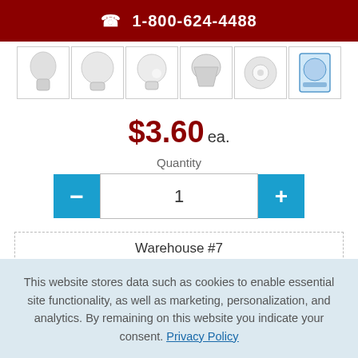☎ 1-800-624-4488
[Figure (photo): Row of six light bulb product thumbnail images in white bordered boxes]
$3.60 ea.
Quantity
1
| Warehouse #7 |
| Qty Available: 437 ea. |
This website stores data such as cookies to enable essential site functionality, as well as marketing, personalization, and analytics. By remaining on this website you indicate your consent. Privacy Policy